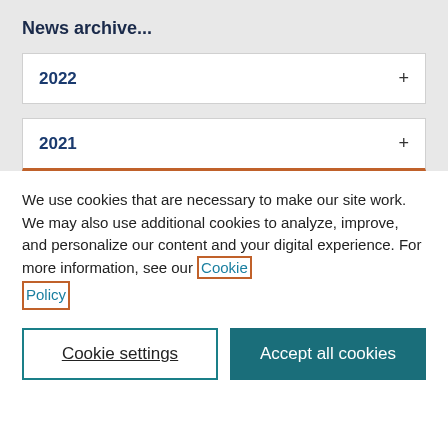News archive...
2022 +
2021 +
We use cookies that are necessary to make our site work. We may also use additional cookies to analyze, improve, and personalize our content and your digital experience. For more information, see our Cookie Policy
Cookie settings
Accept all cookies